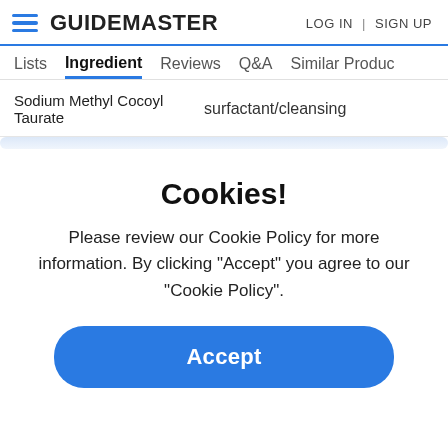GUIDEMASTER   LOG IN | SIGN UP
Lists  Ingredient  Reviews  Q&A  Similar Products
Sodium Methyl Cocoyl Taurate   surfactant/cleansing
Cookies!
Please review our Cookie Policy for more information. By clicking "Accept" you agree to our "Cookie Policy".
Accept